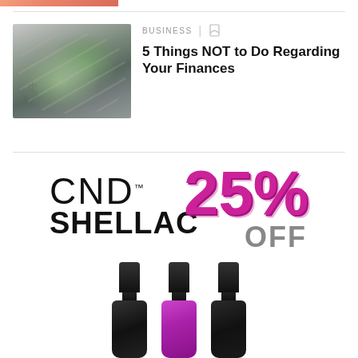[Figure (photo): Partial image at top of page, cropped — appears to be a skin/product photo with warm pinkish tones]
BUSINESS | [bookmark icon]
5 Things NOT to Do Regarding Your Finances
[Figure (photo): CND Shellac advertisement showing logo, 25% OFF text in magenta, and three nail polish bottles]
CND™ SHELLAC 25% OFF